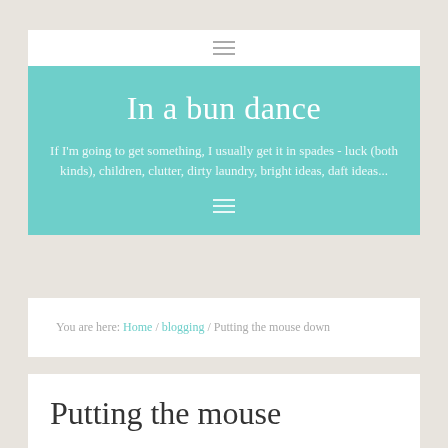≡
In a bun dance
If I'm going to get something, I usually get it in spades - luck (both kinds), children, clutter, dirty laundry, bright ideas, daft ideas...
You are here: Home / blogging / Putting the mouse down
Putting the mouse